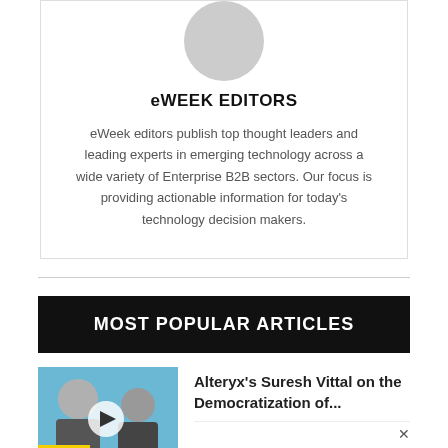[Figure (photo): Gray circle avatar/profile placeholder image at top of author card]
eWEEK EDITORS
eWeek editors publish top thought leaders and leading experts in emerging technology across a wide variety of Enterprise B2B sectors. Our focus is providing actionable information for today's technology decision makers.
MOST POPULAR ARTICLES
[Figure (photo): Thumbnail image for article: two men on a blue background with a play button overlay, with eWEEK SPEAKS badge at bottom left]
Alteryx's Suresh Vittal on the Democratization of...